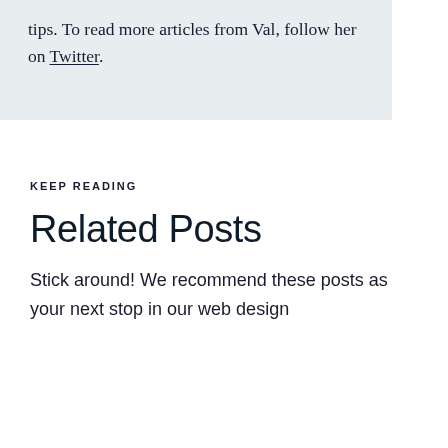tips. To read more articles from Val, follow her on Twitter.
KEEP READING
Related Posts
Stick around! We recommend these posts as your next stop in our web design and digital strategy blog.